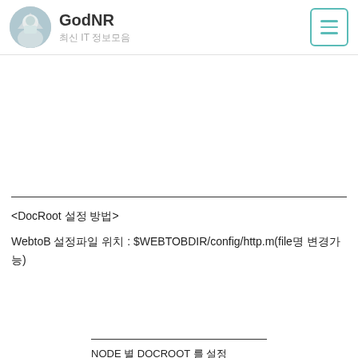GodNR — 최신 IT 정보모음
<DocRoot 설정 방법>
WebtoB 설정파일 위치 : $WEBTOBDIR/config/http.m(file명 변경가능)
NODE 별 DOCROOT 를 설정